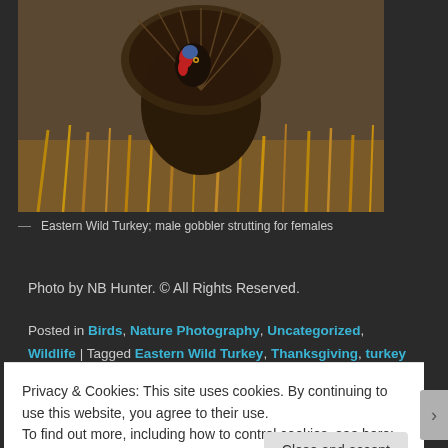[Figure (photo): Eastern Wild Turkey; male gobbler strutting for females, photographed in a field with dried corn stalks]
— Eastern Wild Turkey; male gobbler strutting for females
Photo by NB Hunter. © All Rights Reserved.
Posted in Birds, Nature Photography, Uncategorized, Wildlife | Tagged Eastern Wild Turkey, Thanksgiving, turkey gobbler | 10 Replies
Privacy & Cookies: This site uses cookies. By continuing to use this website, you agree to their use.
To find out more, including how to control cookies, see here: Cookie Policy